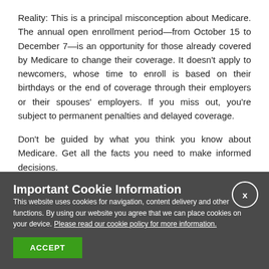Reality: This is a principal misconception about Medicare. The annual open enrollment period—from October 15 to December 7—is an opportunity for those already covered by Medicare to change their coverage. It doesn't apply to newcomers, whose time to enroll is based on their birthdays or the end of coverage through their employers or their spouses' employers. If you miss out, you're subject to permanent penalties and delayed coverage.
Don't be guided by what you think you know about Medicare. Get all the facts you need to make informed decisions.
Important Cookie Information
This website uses cookies for navigation, content delivery and other functions. By using our website you agree that we can place cookies on your device. Please read our cookie policy for more information.